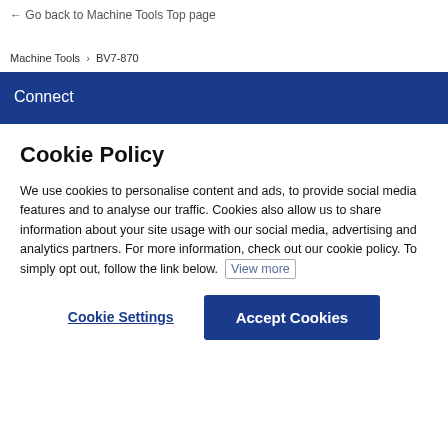← Go back to Machine Tools Top page
Machine Tools › BV7-870
Connect
Cookie Policy
We use cookies to personalise content and ads, to provide social media features and to analyse our traffic. Cookies also allow us to share information about your site usage with our social media, advertising and analytics partners. For more information, check out our cookie policy. To simply opt out, follow the link below.  View more
Cookie Settings   Accept Cookies